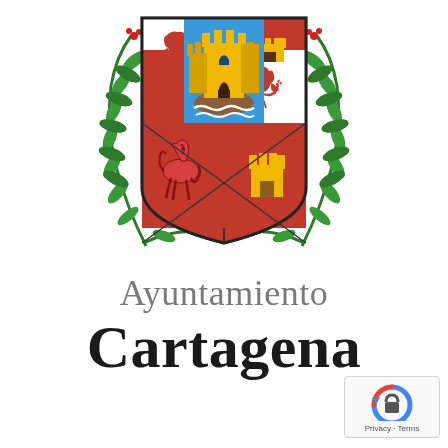[Figure (logo): Coat of arms of Cartagena municipality with olive branch wreath, shield divided into quarters with castles and lions on red and white fields, central blue field with golden castle/tower on rocky outcrop above water waves]
Ayuntamiento Cartagena